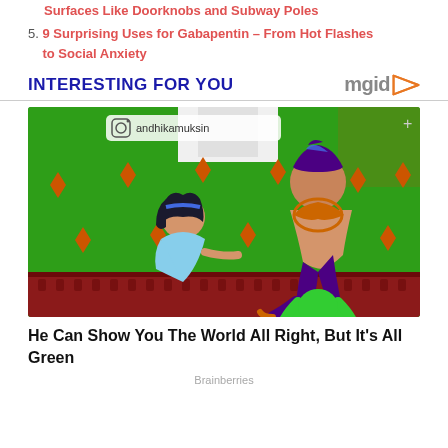Surfaces Like Doorknobs and Subway Poles
5. 9 Surprising Uses for Gabapentin – From Hot Flashes to Social Anxiety
INTERESTING FOR YOU
[Figure (photo): Cartoon image showing Disney characters Jasmine and Aladdin from Aladdin against a green screen background, with a cartoon green figure at the bottom. Instagram watermark: andhikamuksin]
He Can Show You The World All Right, But It's All Green
Brainberries